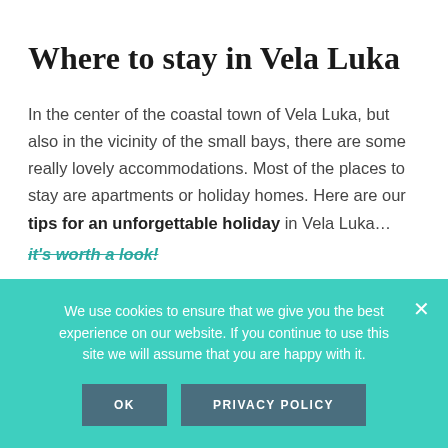Where to stay in Vela Luka
In the center of the coastal town of Vela Luka, but also in the vicinity of the small bays, there are some really lovely accommodations. Most of the places to stay are apartments or holiday homes. Here are our tips for an unforgettable holiday in Vela Luka… it's worth a look!
We use cookies to ensure that we give you the best experience on our website. If you continue to use this site we will assume that you are happy with it.